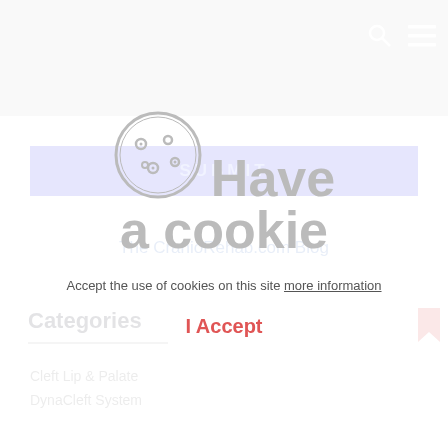[Figure (screenshot): Grey navigation bar with search and hamburger menu icons]
SUBMIT
The CranioRehab.com Blog
Categories
Cleft Lip & Palate
DynaCleft System
[Figure (infographic): Cookie consent overlay with cookie icon, Have a cookie text, accept message and I Accept button]